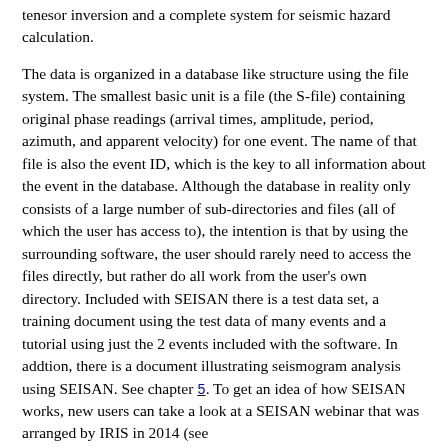tenesor inversion and a complete system for seismic hazard calculation.
The data is organized in a database like structure using the file system. The smallest basic unit is a file (the S-file) containing original phase readings (arrival times, amplitude, period, azimuth, and apparent velocity) for one event. The name of that file is also the event ID, which is the key to all information about the event in the database. Although the database in reality only consists of a large number of sub-directories and files (all of which the user has access to), the intention is that by using the surrounding software, the user should rarely need to access the files directly, but rather do all work from the user's own directory. Included with SEISAN there is a test data set, a training document using the test data of many events and a tutorial using just the 2 events included with the software. In addtion, there is a document illustrating seismogram analysis using SEISAN. See chapter 5. To get an idea of how SEISAN works, new users can take a look at a SEISAN webinar that was arranged by IRIS in 2014 (see https://www.youtube.com/watch?v=KJH3ktGL_K0 or file seisan_webinar_iris_2014.mov on the SEISAN ftp server).
SEISAN runs under Sun Solaris, Linux, MacOSX and Windows. The programs are mostly written in Fortran, a few in C and almost all source codes is given, so the user should be able to fix bugs